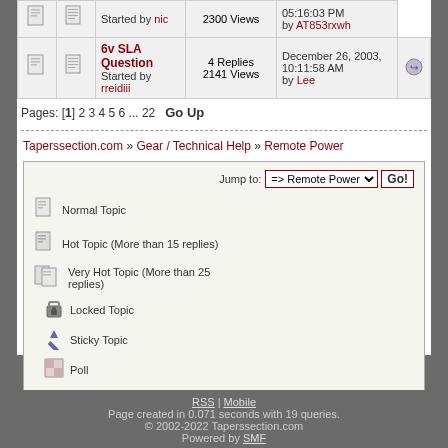|  |  | Topic | Stats | Last Post |  |
| --- | --- | --- | --- | --- | --- |
| [icon] | [icon] | Started by nic | 2300 Views | 05:16:03 PM by AT853rxwh |  |
| [icon] | [icon] | 6v SLA Question
Started by rreidiii | 4 Replies
2141 Views | December 26, 2003, 10:11:58 AM by Lee | [icon] |
Pages: [1] 2 3 4 5 6 ... 22   Go Up
Taperssection.com » Gear / Technical Help » Remote Power
Normal Topic
Hot Topic (More than 15 replies)
Very Hot Topic (More than 25 replies)
Locked Topic
Sticky Topic
Poll
Jump to: => Remote Power  Go!
RSS | Mobile
Page created in 0.071 seconds with 19 queries.
© 2002-2022 Taperssection.com
Powered by SMF